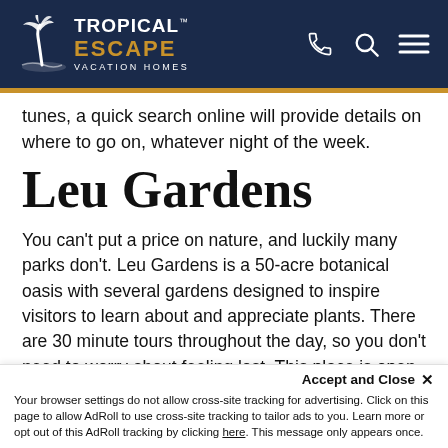Tropical Escape Vacation Homes
tunes, a quick search online will provide details on where to go on, whatever night of the week.
Leu Gardens
You can't put a price on nature, and luckily many parks don't. Leu Gardens is a 50-acre botanical oasis with several gardens designed to inspire visitors to learn about and appreciate plants. There are 30 minute tours throughout the day, so you don't need to worry about feeling lost. This place is open 9am-5pm and isn't far from downtown, allowing easy access. While you're here, take a tour of the
Accept and Close ✕
Your browser settings do not allow cross-site tracking for advertising. Click on this page to allow AdRoll to use cross-site tracking to tailor ads to you. Learn more or opt out of this AdRoll tracking by clicking here. This message only appears once.